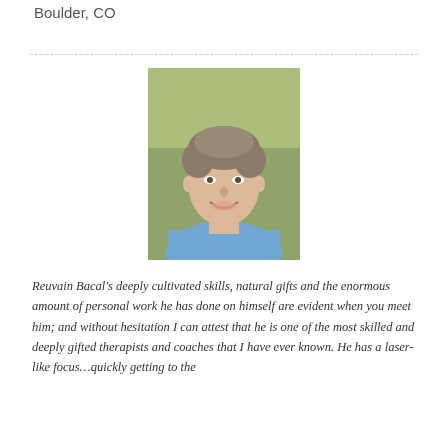Boulder, CO
[Figure (photo): Headshot of Reuvain Bacal, a man with short grey-brown hair wearing a blue t-shirt, smiling, with a blurred green outdoor background.]
Reuvain Bacal's deeply cultivated skills, natural gifts and the enormous amount of personal work he has done on himself are evident when you meet him; and without hesitation I can attest that he is one of the most skilled and deeply gifted therapists and coaches that I have ever known. He has a laser-like focus…quickly getting to the